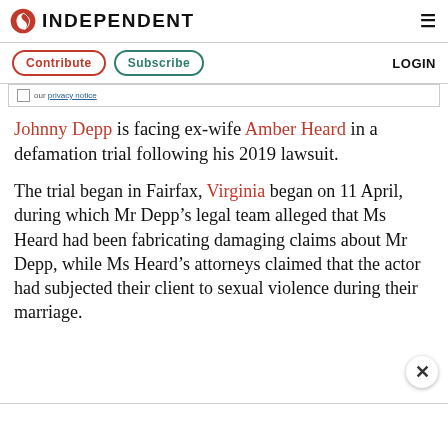INDEPENDENT
Contribute  Subscribe  LOGIN
our privacy notice
Johnny Depp is facing ex-wife Amber Heard in a defamation trial following his 2019 lawsuit.
The trial began in Fairfax, Virginia began on 11 April, during which Mr Depp’s legal team alleged that Ms Heard had been fabricating damaging claims about Mr Depp, while Ms Heard’s attorneys claimed that the actor had subjected their client to sexual violence during their marriage.